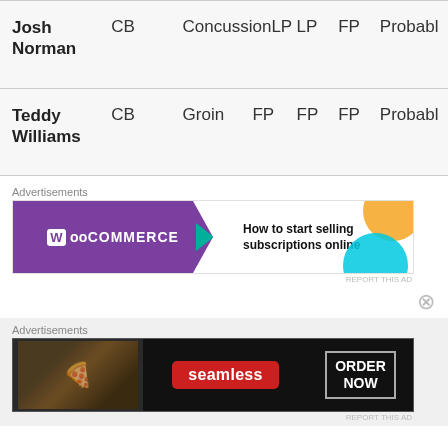| Player | Pos | Injury | Day1 | Day2 | Day3 | Status |
| --- | --- | --- | --- | --- | --- | --- |
| Josh Norman | CB | Concussion | LP | LP | FP | Probable |
| Teddy Williams | CB | Groin | FP | FP | FP | Probable |
Advertisements
[Figure (other): WooCommerce advertisement banner: How to start selling subscriptions online]
Advertisements
[Figure (other): Seamless food delivery advertisement: ORDER NOW]